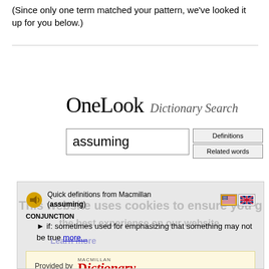(Since only one term matched your pattern, we've looked it up for you below.)
[Figure (screenshot): OneLook Dictionary Search interface showing a search box with the word 'assuming' entered, Definitions and Related words buttons, and a Quick definitions result from Macmillan showing 'assuming' as a CONJUNCTION meaning 'if: sometimes used for emphasizing that something may not be true', with a link to more, and a 'Provided by Macmillan Dictionary' banner. A cookie consent overlay is partially visible.]